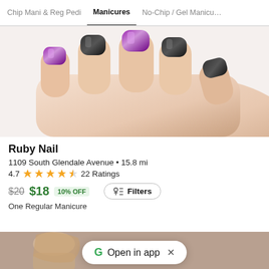Chip Mani & Reg Pedi   Manicures   No-Chip / Gel Manicures
[Figure (photo): Close-up photo of a hand with alternating black and purple/metallic nail polish on manicured nails against a white background]
Ruby Nail
1109 South Glendale Avenue • 15.8 mi
4.7 ★★★★½ 22 Ratings
$20 $18 10% OFF   One Regular Manicure
[Figure (photo): Bottom portion of a second listing showing a person with long blonde hair, partially visible]
Open in app